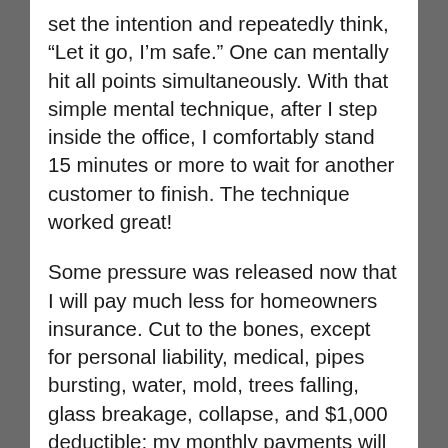set the intention and repeatedly think, “Let it go, I’m safe.” One can mentally hit all points simultaneously. With that simple mental technique, after I step inside the office, I comfortably stand 15 minutes or more to wait for another customer to finish. The technique worked great!
Some pressure was released now that I will pay much less for homeowners insurance. Cut to the bones, except for personal liability, medical, pipes bursting, water, mold, trees falling, glass breakage, collapse, and $1,000 deductible; my monthly payments will be $78 instead of $219. I feel alone having to make big decisions. How nice it might be to have a partner, but some partners make it harder instead of easier. When I remember that I feel more content about solo